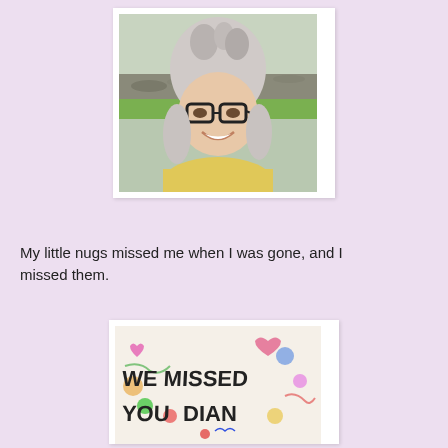[Figure (photo): Selfie of an older woman with gray hair in a bun, wearing black-rimmed glasses and a yellow sweater, smiling outdoors near a rocky shore with green grass in the background.]
My little nugs missed me when I was gone, and I missed them.
[Figure (photo): A hand-drawn sign on white paper with crayon letters reading 'WE MISSED YOU' and colorful doodles of hearts and flowers.]